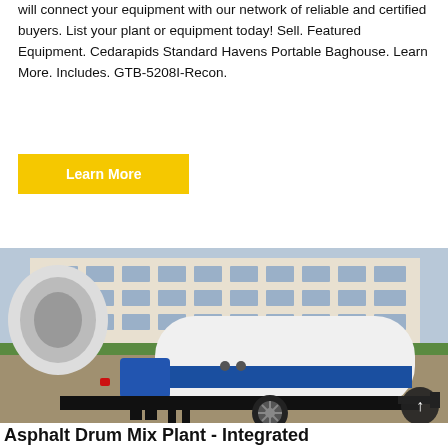will connect your equipment with our network of reliable and certified buyers. List your plant or equipment today! Sell. Featured Equipment. Cedarapids Standard Havens Portable Baghouse. Learn More. Includes. GTB-5208I-Recon.
Learn More
[Figure (photo): Photo of a white and blue asphalt drum mix plant trailer on a construction site, with a building in the background. A scroll-to-top button (dark circle with upward arrow) is visible in the lower right corner.]
Asphalt Drum Mix Plant - Integrated